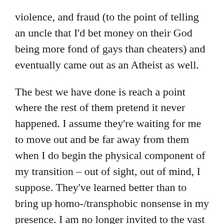violence, and fraud (to the point of telling an uncle that I'd bet money on their God being more fond of gays than cheaters) and eventually came out as an Atheist as well.
The best we have done is reach a point where the rest of them pretend it never happened. I assume they're waiting for me to move out and be far away from them when I do begin the physical component of my transition – out of sight, out of mind, I suppose. They've learned better than to bring up homo-/transphobic nonsense in my presence. I am no longer invited to the vast majority of family gatherings and those that I do get invited to, I refuse.
If you want to help me to keep bringing important stories like this to the blog, please head over to the tip jar! Thanks